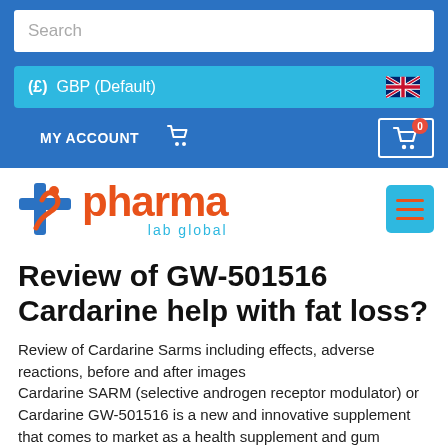Search
(£)  GBP (Default)
MY ACCOUNT
[Figure (logo): Pharma Lab Global logo with cross icon in blue and orange, and hamburger menu button in teal]
Review of GW-501516 Cardarine help with fat loss?
Review of Cardarine Sarms including effects, adverse reactions, before and after images
Cardarine SARM (selective androgen receptor modulator) or Cardarine GW-501516 is a new and innovative supplement that comes to market as a health supplement and gum